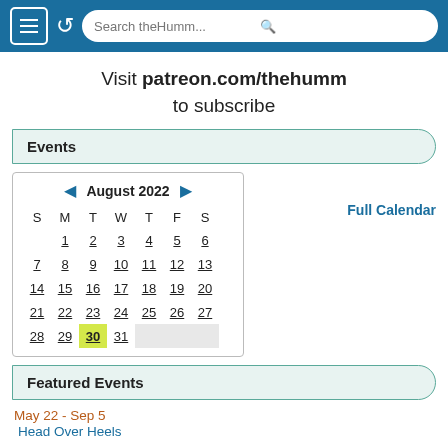[Figure (screenshot): Browser navigation bar with menu icon, refresh icon, and search bar showing 'Search theHumm...']
Visit patreon.com/thehumm to subscribe
Events
[Figure (other): August 2022 calendar with navigation arrows and dates 1-31, date 30 highlighted in yellow-green]
Full Calendar
Featured Events
May 22 - Sep 5
Head Over Heels
Jul 12 - Sep 6